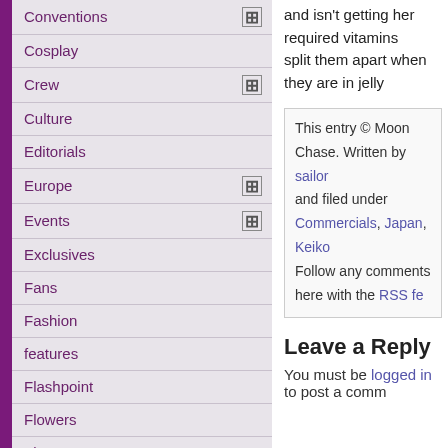Conventions
Cosplay
Crew
Culture
Editorials
Europe
Events
Exclusives
Fans
Fashion
features
Flashpoint
Flowers
Flyers
Food
For Older Readers Only
Fumio Osano (Osabu)
and isn't getting her required vitamins split them apart when they are in jelly
This entry © Moon Chase. Written by sailor and filed under Commercials, Japan, Keiko Follow any comments here with the RSS fe
Leave a Reply
You must be logged in to post a comm